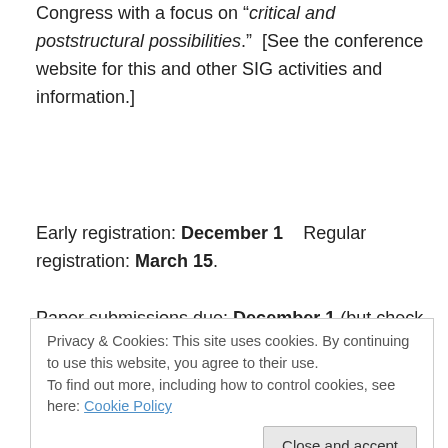Congress with a focus on “critical and poststructural possibilities.”  [See the conference website for this and other SIG activities and information.]
Early registration: December 1   Regular registration: March 15.
Paper submissions due: December 1 (but check website for possible extension).
The International Congress of Qualitative Inquiry (ICQI) will celebrate its 10th anniversary in 2014. The 10th
Privacy & Cookies: This site uses cookies. By continuing to use this website, you agree to their use.
To find out more, including how to control cookies, see here: Cookie Policy
have taken place over the last decade. What might the